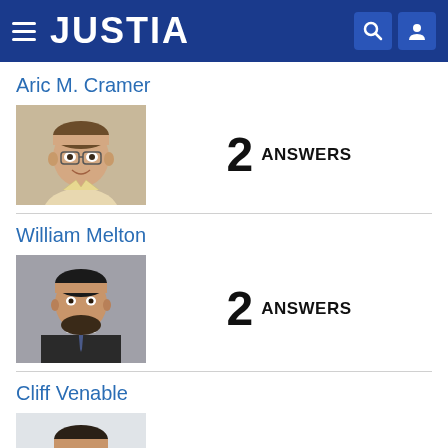JUSTIA
Aric M. Cramer
[Figure (photo): Headshot of Aric M. Cramer, a middle-aged man with glasses, smiling]
2 ANSWERS
William Melton
[Figure (photo): Headshot of William Melton, a man with beard wearing a suit and tie]
2 ANSWERS
Cliff Venable
[Figure (photo): Headshot of Cliff Venable, a man with beard in a light blue shirt]
1 ANSWER